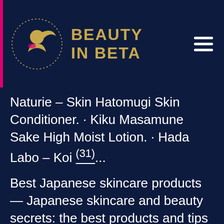BEAUTY IN BETA
Naturie – Skin Hatomugi Skin Conditioner. · Kiku Masamune Sake High Moist Lotion. · Hada Labo – Koi (31)...
Best Japanese skincare products — Japanese skincare and beauty secrets: the best products and tips for glowing, supple skin. Would your skin do better with List includes: Best Japanese skincare products · Best Japanese skincare brands · Japanese